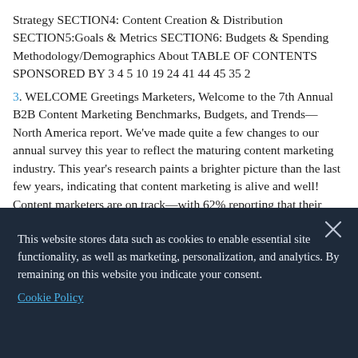Strategy SECTION4: Content Creation & Distribution SECTION5:Goals & Metrics SECTION6: Budgets & Spending Methodology/Demographics About TABLE OF CONTENTS SPONSORED BY 3 4 5 10 19 24 41 44 45 35 2
3. WELCOME Greetings Marketers, Welcome to the 7th Annual B2B Content Marketing Benchmarks, Budgets, and Trends—North America report. We've made quite a few changes to our annual survey this year to reflect the maturing content marketing industry. This year's research paints a brighter picture than the last few years, indicating that content marketing is alive and well! Content marketers are on track—with 62% reporting that their
[Figure (screenshot): Cookie consent overlay banner with dark navy background. Contains close (X) button in top right, body text about cookies and data storage, and a 'Cookie Policy' link in blue.]
those marketers will succeed. Please watch for continuing